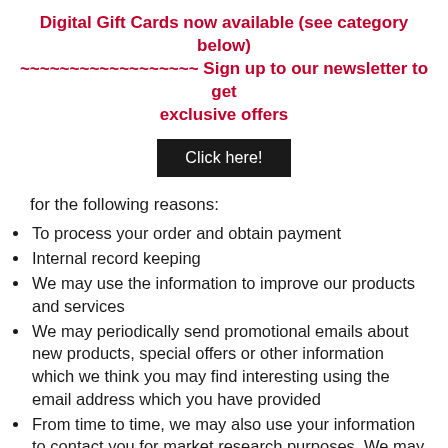Digital Gift Cards now available (see category below) ~~~~~~~~~~~~~~~~~~ Sign up to our newsletter to get exclusive offers
[Figure (other): Black button labeled 'Click here!']
for the following reasons:
To process your order and obtain payment
Internal record keeping
We may use the information to improve our products and services
We may periodically send promotional emails about new products, special offers or other information which we think you may find interesting using the email address which you have provided
From time to time, we may also use your information to contact you for market research purposes. We may contact you by email, phone